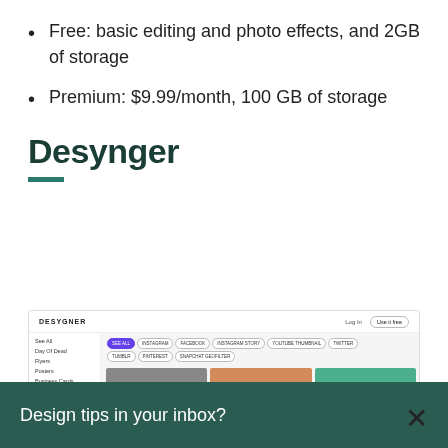Free: basic editing and photo effects, and 2GB of storage
Premium: $9.99/month, 100 GB of storage
Desynger
[Figure (screenshot): Screenshot of the Desygner website showing the navigation bar with logo, login and 'Use it free' button, left sidebar with categories (See All, Day Of Dead, Flyers, Posters, Business Cards, Greeting Cards), category filter buttons (SEE ALL, INSTAGRAM, FACEBOOK, INSTAGRAM STORY, YOUTUBE THUMBNAIL, TWITTER, TUMBLR, PINTEREST, SNAPCHAT GEOFILTER), and three template thumbnails (grey, orange 'summer collection', teal with person).]
Design tips in your inbox?